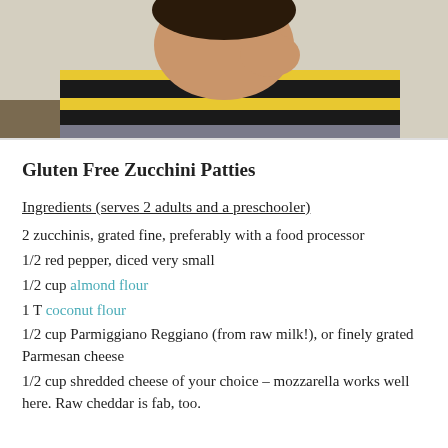[Figure (photo): Photo of a child in a yellow and black striped shirt eating or tasting something, cropped at top of page]
Gluten Free Zucchini Patties
Ingredients (serves 2 adults and a preschooler)
2 zucchinis, grated fine, preferably with a food processor
1/2 red pepper, diced very small
1/2 cup almond flour
1 T coconut flour
1/2 cup Parmiggiano Reggiano (from raw milk!), or finely grated Parmesan cheese
1/2 cup shredded cheese of your choice – mozzarella works well here. Raw cheddar is fab, too.